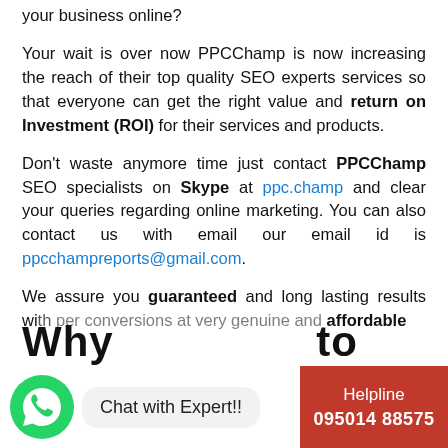your business online?
Your wait is over now PPCChamp is now increasing the reach of their top quality SEO experts services so that everyone can get the right value and return on Investment (ROI) for their services and products.
Don't waste anymore time just contact PPCChamp SEO specialists on Skype at ppc.champ and clear your queries regarding online marketing. You can also contact us with email our email id is ppcchampreports@gmail.com.
We assure you guaranteed and long lasting results with proper conversions at very genuine and affordable p...
Why    to
[Figure (other): WhatsApp icon and Chat with Expert!! bubble, and Helpline red box with 095014 88575]